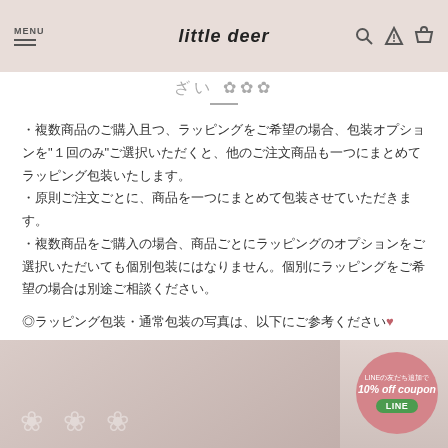MENU / little deer
・複数商品のご購入且つ、ラッピングをご希望の場合、包装オプションを"１回のみ"ご選択いただくと、他のご注文商品も一つにまとめてラッピング包装いたします。
・原則ご注文ごとに、商品を一つにまとめて包装させていただきます。
・複数商品をご購入の場合、商品ごとにラッピングのオプションをご選択いただいても個別包装にはなりません。個別にラッピングをご希望の場合は別途ご相談ください。
◎ラッピング包装・通常包装の写真は、以下にご参考ください♥
[Figure (photo): Bottom portion of page showing a pinkish-beige background image with lace/gift wrapping items, and a circular LINE coupon badge in the bottom right showing '10% off coupon' and a green LINE button.]